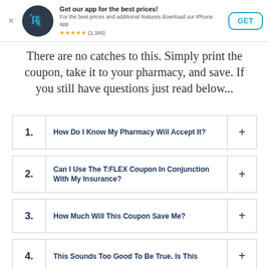[Figure (screenshot): App download banner with RxSaver logo, title 'Get our app for the best prices!', description text, 5-star rating (1,345 reviews), and GET button]
There are no catches to this. Simply print the coupon, take it to your pharmacy, and save. If you still have questions just read below...
1. How Do I Know My Pharmacy Will Accept It?
2. Can I Use The T:FLEX Coupon In Conjunction With My Insurance?
3. How Much Will This Coupon Save Me?
4. This Sounds Too Good To Be True. Is This